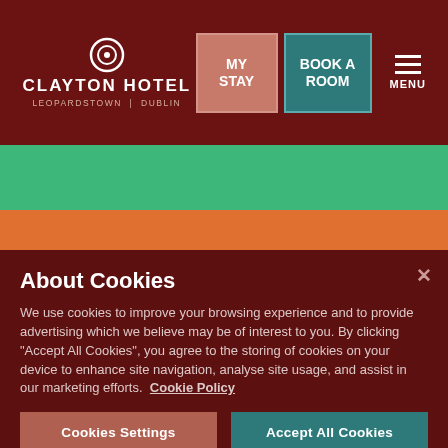CLAYTON HOTEL LEOPARDSTOWN | DUBLIN — Navigation: MY STAY | BOOK A ROOM | MENU
[Figure (photo): Partial image showing green and orange surfaces, appears to be a recreational activity area]
Jam Park is a multi-storey entertainment complex at Airside Retail Park in Swords. On site activities include karaoke, an arcade, crazy golf, ping pong, shuffleboard,
About Cookies
We use cookies to improve your browsing experience and to provide advertising which we believe may be of interest to you. By clicking "Accept All Cookies", you agree to the storing of cookies on your device to enhance site navigation, analyse site usage, and assist in our marketing efforts. Cookie Policy
Cookies Settings | Accept All Cookies